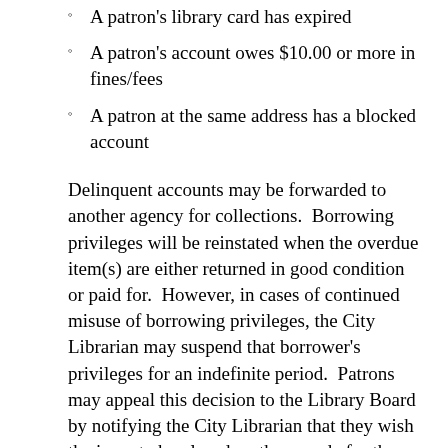A patron's library card has expired
A patron's account owes $10.00 or more in fines/fees
A patron at the same address has a blocked account
Delinquent accounts may be forwarded to another agency for collections.  Borrowing privileges will be reinstated when the overdue item(s) are either returned in good condition or paid for.  However, in cases of continued misuse of borrowing privileges, the City Librarian may suspend that borrower's privileges for an indefinite period.  Patrons may appeal this decision to the Library Board by notifying the City Librarian that they wish the issue to be placed on the agenda for the next Board meeting.  Such notice shall be given at least seven (7) days prior to the meeting.  If appealed, the suspension shall be on hold until the appeal is exhausted